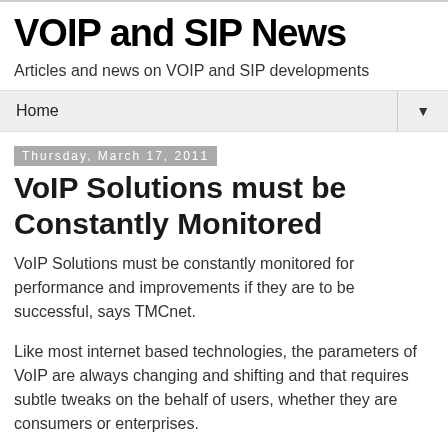VOIP and SIP News
Articles and news on VOIP and SIP developments
Home ▼
Thursday, March 17, 2011
VoIP Solutions must be Constantly Monitored
VoIP Solutions must be constantly monitored for performance and improvements if they are to be successful, says TMCnet.
Like most internet based technologies, the parameters of VoIP are always changing and shifting and that requires subtle tweaks on the behalf of users, whether they are consumers or enterprises.